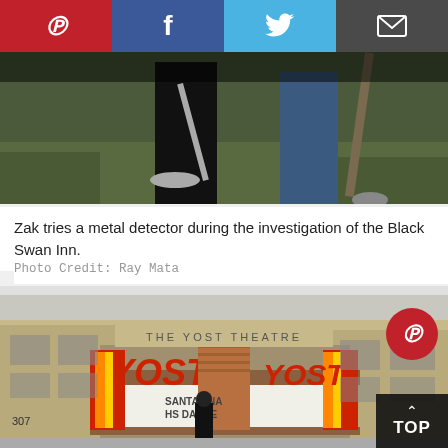[Figure (other): Social sharing bar with Pinterest (red), Facebook (dark blue), Twitter (light blue), and Email (dark gray) buttons]
[Figure (photo): Close-up photo of a person's legs in black pants using a metal detector on grass, with another person holding a shovel visible on the right]
Zak tries a metal detector during the investigation of the Black Swan Inn.
Photo Credit: Ray Mata
[Figure (photo): Exterior of the Yost Theatre in Santa Ana showing the marquee with 'THE YOST THEATRE' sign and red 'Yost' lettering. Marquee reads 'SANTA ANA HS DANCE'. A person in black stands in front of the theatre entrance.]